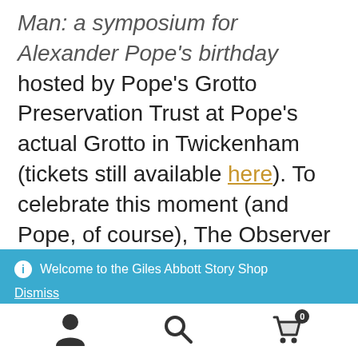Man: a symposium for Alexander Pope's birthday hosted by Pope's Grotto Preservation Trust at Pope's actual Grotto in Twickenham (tickets still available here). To celebrate this moment (and Pope, of course), The Observer got in on the act. If you
Welcome to the Giles Abbott Story Shop
Dismiss
Icons: person, search, cart (0)